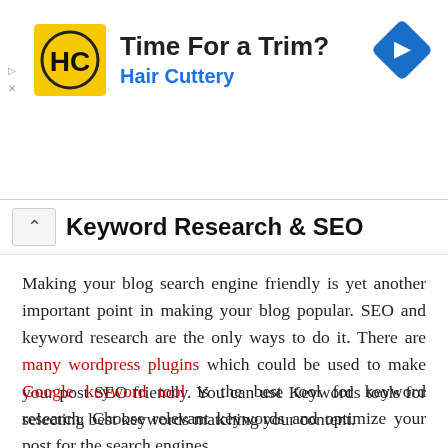[Figure (advertisement): Hair Cuttery ad banner with yellow square logo showing 'HC' initials, bold text 'Time For a Trim?' and blue subtitle 'Hair Cuttery', with a blue diamond navigation icon on the right]
Keyword Research & SEO
Making your blog search engine friendly is yet another important point in making your blog popular. SEO and keyword research are the only ways to do it. There are many wordpress plugins which could be used to make your post SEO friendly. You can use Keywords tools for selecting best keywords matching your content.
Google keyword tool is the best tool for keyword research. Choose relevant keywords and optimize your post for the search engines.